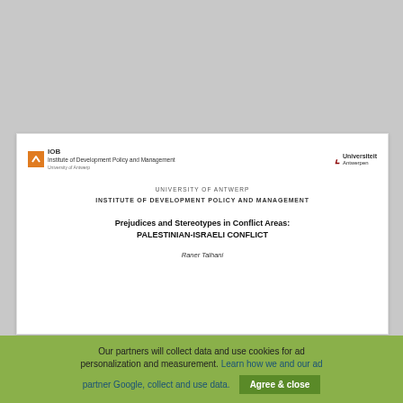[Figure (logo): IOB Institute of Development Policy and Management logo (orange box with arrow icon) on the left, and University of Antwerp logo on the right]
UNIVERSITY OF ANTWERP
INSTITUTE OF DEVELOPMENT POLICY AND MANAGEMENT
Prejudices and Stereotypes in Conflict Areas: PALESTINIAN-ISRAELI CONFLICT
Raner Talhani
Our partners will collect data and use cookies for ad personalization and measurement. Learn how we and our ad partner Google, collect and use data. Agree & close